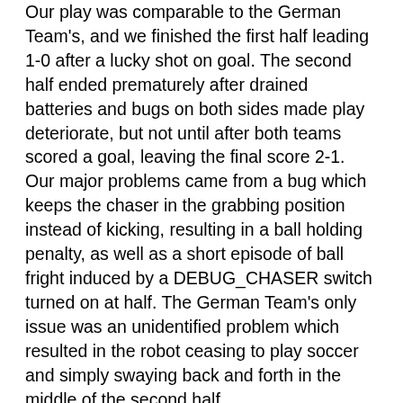Our play was comparable to the German Team's, and we finished the first half leading 1-0 after a lucky shot on goal. The second half ended prematurely after drained batteries and bugs on both sides made play deteriorate, but not until after both teams scored a goal, leaving the final score 2-1. Our major problems came from a bug which keeps the chaser in the grabbing position instead of kicking, resulting in a ball holding penalty, as well as a short episode of ball fright induced by a DEBUG_CHASER switch turned on at half. The German Team's only issue was an unidentified problem which resulted in the robot ceasing to play soccer and simply swaying back and forth in the middle of the second half.
Unfortunately we were only able to scrimmage 4. v 4. since we our robots are deteriorating quickly. Currently Sam and Pippin are in the shop, and Mike's leg is about to give out. Even though development on the Aibo is generally straightforward, it is clear that only a few teams (if any!) will be able to muster robots to play again next year if the Aibos